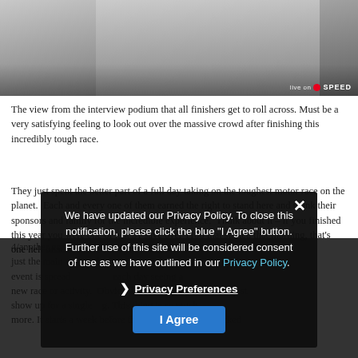[Figure (photo): View from an interview podium area, showing pavement/ground level with people's legs and equipment visible. A SPEED network watermark is shown in the bottom right corner.]
The view from the interview podium that all finishers get to roll across. Must be a very satisfying feeling to look out over the massive crowd after finishing this incredibly tough race.
They just spent the better part of a full day taking on the toughest motor race on the planet.  Each and every one of them earned the right to stand here and thank their sponsors and family for the incredible experience.  Think about it – if you finished this year you were one of just 31 save over 1100 that started that morning, that's one heli-characteristically don't you think like the 4/another great tradition more than just the main event which we covered this year.  The entire event is spread over each day seeing a new race or activity.  Obviously over 30,000 RVs don't just show up for a single day. This thing is so much more. It starts a week before the main event and is kicked
We have updated our Privacy Policy. To close this notification, please click the blue "I Agree" button. Further use of this site will be considered consent of use as we have outlined in our Privacy Policy.
Privacy Preferences
I Agree